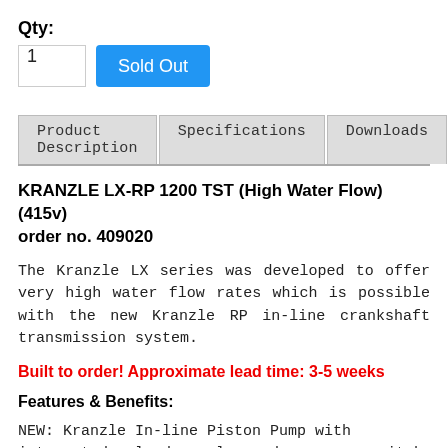Qty:
[Figure (screenshot): Quantity input field showing '1' and a blue 'Sold Out' button]
[Figure (screenshot): Tab navigation with three tabs: Product Description, Specifications, Downloads]
KRANZLE LX-RP 1200 TST (High Water Flow)(415v) order no. 409020
The Kranzle LX series was developed to offer very high water flow rates which is possible with the new Kranzle RP in-line crankshaft transmission system.
Built to order! Approximate lead time: 3-5 weeks
Features & Benefits:
NEW: Kranzle In-line Piston Pump with integrated unloader valve and pressure switch
Total-stop-system with delayed motor cut-off improves